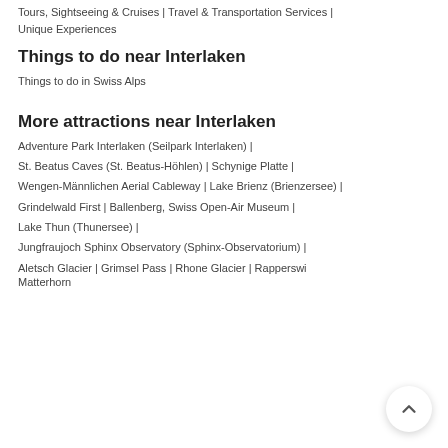Tours, Sightseeing & Cruises | Travel & Transportation Services | Unique Experiences
Things to do near Interlaken
Things to do in Swiss Alps
More attractions near Interlaken
Adventure Park Interlaken (Seilpark Interlaken) | St. Beatus Caves (St. Beatus-Höhlen) | Schynige Platte | Wengen-Männlichen Aerial Cableway | Lake Brienz (Brienzersee) | Grindelwald First | Ballenberg, Swiss Open-Air Museum | Lake Thun (Thunersee) | Jungfraujoch Sphinx Observatory (Sphinx-Observatorium) | Aletsch Glacier | Grimsel Pass | Rhone Glacier | Rapperswil | Matterhorn